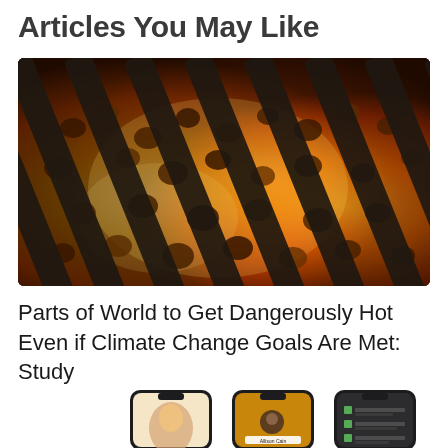Articles You May Like
[Figure (photo): Close-up photo of burning charcoal embers on a grill grate, showing intense orange and red flames with dark grill bars visible.]
Parts of World to Get Dangerously Hot Even if Climate Change Goals Are Met: Study
[Figure (photo): Three iPhone screens shown partially at the bottom of the page, displaying various app interfaces including what appears to be a FaceTime or contacts screen. The middle phone shows 'Allison Cain'.]